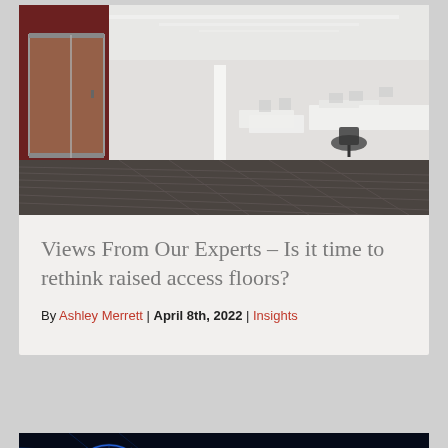[Figure (photo): Interior photo of a modern open-plan office with glass-walled meeting rooms on the left, white workstations and chairs on the right, dark wood-effect flooring running down the centre corridor, and bright white ceiling with LED strip lighting.]
Views From Our Experts – Is it time to rethink raised access floors?
By Ashley Merrett | April 8th, 2022 | Insights
[Figure (photo): Dark technology background with a glowing digital globe showing blue data streams and neon pink highlights, representing global digital connectivity.]